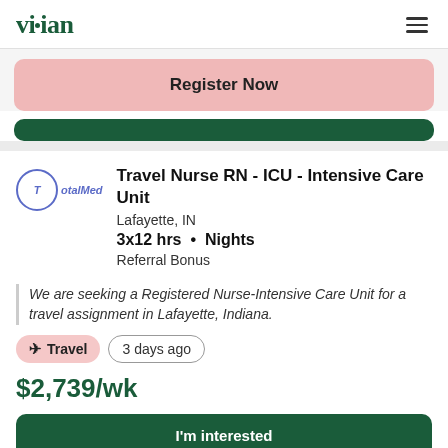vivian
Register Now
Travel Nurse RN - ICU - Intensive Care Unit
Lafayette, IN
3x12 hrs • Nights
Referral Bonus
We are seeking a Registered Nurse-Intensive Care Unit for a travel assignment in Lafayette, Indiana.
✈ Travel
3 days ago
$2,739/wk
I'm interested